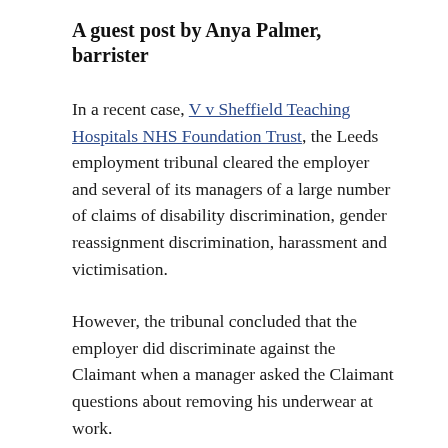A guest post by Anya Palmer, barrister
In a recent case, V v Sheffield Teaching Hospitals NHS Foundation Trust, the Leeds employment tribunal cleared the employer and several of its managers of a large number of claims of disability discrimination, gender reassignment discrimination, harassment and victimisation.
However, the tribunal concluded that the employer did discriminate against the Claimant when a manager asked the Claimant questions about removing his underwear at work.
In its judgment the tribunal describes the